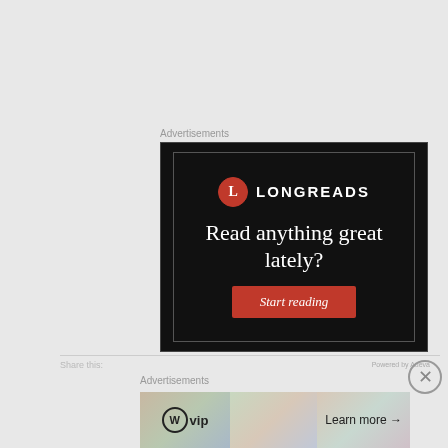Advertisements
[Figure (advertisement): Longreads advertisement with black background, Longreads logo (red circle with L), text 'Read anything great lately?' and a red 'Start reading' button]
Advertisements
[Figure (advertisement): WordPress VIP advertisement banner with 'Learn more →' button and colorful background]